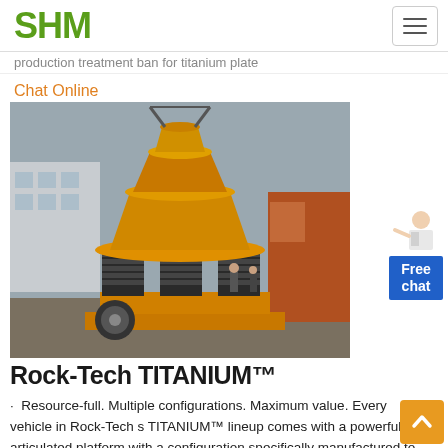SHM
production treatment ban for titanium plate
Chat Online
[Figure (photo): Yellow cone crusher machine (Rock-Tech TITANIUM) on an industrial site with buildings and a truck visible in the background.]
Rock-Tech TITANIUM™
· Resource-full. Multiple configurations. Maximum value. Every vehicle in Rock-Tech s TITANIUM™ lineup comes with a powerful articulated platform with a configuration specifically manufactured to speed up